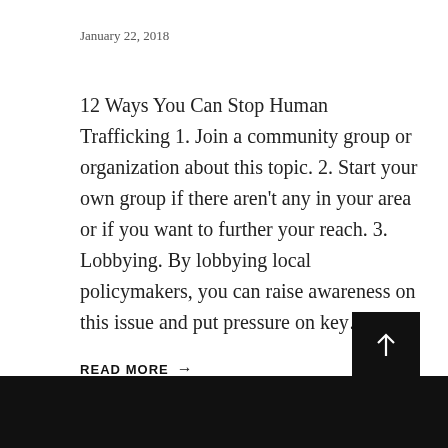January 22, 2018
12 Ways You Can Stop Human Trafficking 1. Join a community group or organization about this topic. 2. Start your own group if there aren't any in your area or if you want to further your reach. 3. Lobbying. By lobbying local policymakers, you can raise awareness on this issue and put pressure on key...
READ MORE →